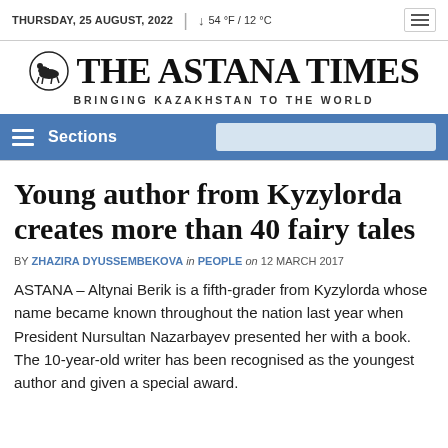THURSDAY, 25 AUGUST, 2022  |  54 °F / 12 °C
THE ASTANA TIMES — BRINGING KAZAKHSTAN TO THE WORLD
Sections
Young author from Kyzylorda creates more than 40 fairy tales
BY ZHAZIRA DYUSSEMBEKOVA in PEOPLE on 12 MARCH 2017
ASTANA – Altynai Berik is a fifth-grader from Kyzylorda whose name became known throughout the nation last year when President Nursultan Nazarbayev presented her with a book. The 10-year-old writer has been recognised as the youngest author and given a special award.